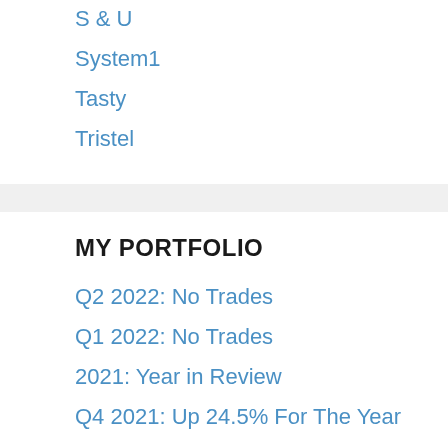S & U
System1
Tasty
Tristel
MY PORTFOLIO
Q2 2022: No Trades
Q1 2022: No Trades
2021: Year in Review
Q4 2021: Up 24.5% For The Year
Q3 2021: No Trades